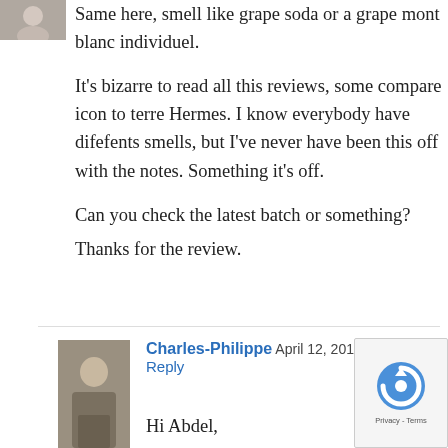[Figure (photo): Small avatar thumbnail of a person, partially visible at top-left]
Same here, smell like grape soda or a grape mont blanc individuel.
It’s bizarre to read all this reviews, some compare icon to terre Hermes. I know everybody have difefents smells, but I’ve never have been this off with the notes. Something it’s off.
Can you check the latest batch or something?
Thanks for the review.
[Figure (photo): Avatar photo of Charles-Philippe, a man standing near columns]
Charles-Philippe   April 12, 2019 at 3:26 am -
Reply
Hi Abdel,